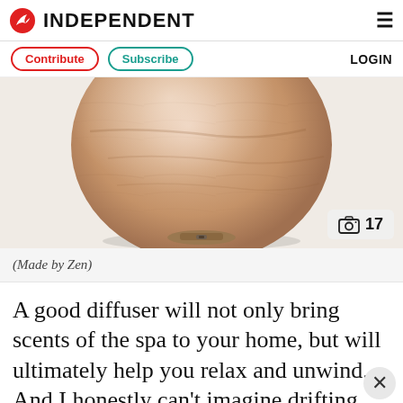INDEPENDENT
Contribute  Subscribe  LOGIN
[Figure (photo): A round wooden bowl-shaped aroma diffuser with a warm rose-gold/wood finish, photographed on a white background. A camera icon badge shows '17' indicating a photo gallery.]
(Made by Zen)
A good diffuser will not only bring scents of the spa to your home, but will ultimately help you relax and unwind. And I honestly can't imagine drifting off without this one from